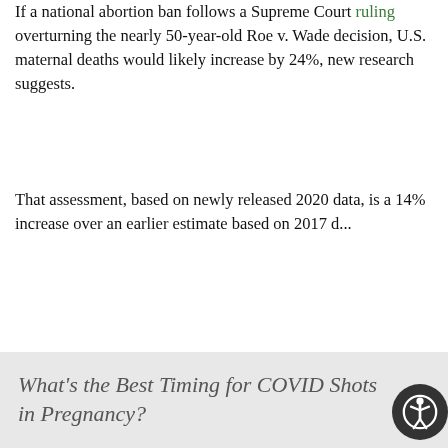If a national abortion ban follows a Supreme Court ruling overturning the nearly 50-year-old Roe v. Wade decision, U.S. maternal deaths would likely increase by 24%, new research suggests.
That assessment, based on newly released 2020 data, is a 14% increase over an earlier estimate based on 2017 d...
By Cara Murez HealthDay Reporter | July 1, 2022 | Full Page
Health Care Access / Disparities | Abortion | Pregnancy
What's the Best Timing for COVID Shots in Pregnancy?